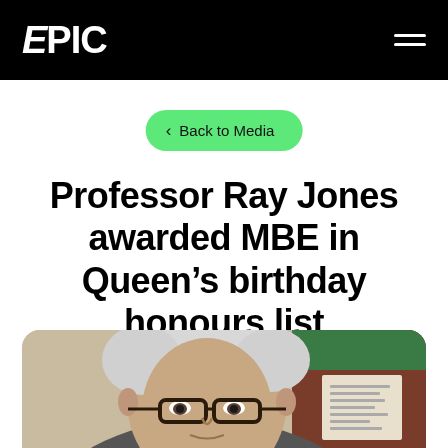EPIC
< Back to Media
Professor Ray Jones awarded MBE in Queen's birthday honours list
[Figure (photo): Close-up photograph of Professor Ray Jones, an older man with white/grey hair and dark-rimmed glasses, photographed from roughly chest up, with a bulletin board visible in the background.]